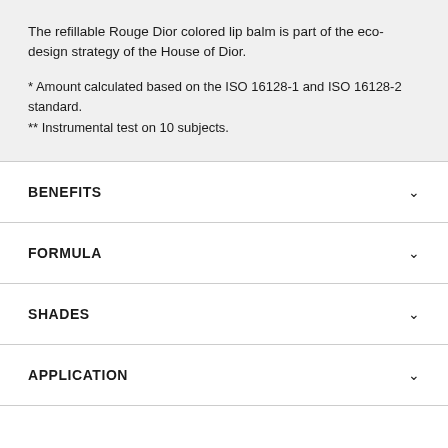The refillable Rouge Dior colored lip balm is part of the eco-design strategy of the House of Dior.
* Amount calculated based on the ISO 16128-1 and ISO 16128-2 standard.
** Instrumental test on 10 subjects.
BENEFITS
FORMULA
SHADES
APPLICATION